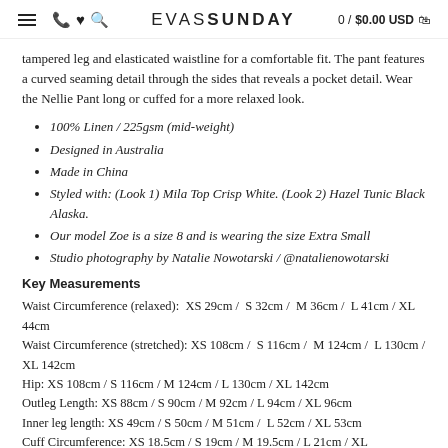≡ ☎ ♥ 🔍  EVAS SUNDAY  0 / $0.00 USD 🛒
tampered leg and elasticated waistline for a comfortable fit. The pant features a curved seaming detail through the sides that reveals a pocket detail. Wear the Nellie Pant long or cuffed for a more relaxed look.
100% Linen / 225gsm (mid-weight)
Designed in Australia
Made in China
Styled with: (Look 1) Mila Top Crisp White. (Look 2) Hazel Tunic Black Alaska.
Our model Zoe is a size 8 and is wearing the size Extra Small
Studio photography by Natalie Nowotarski / @natalienowotarski
Key Measurements
Waist Circumference (relaxed):  XS 29cm /  S 32cm /  M 36cm /  L 41cm / XL 44cm
Waist Circumference (stretched): XS 108cm /  S 116cm /  M 124cm /  L 130cm / XL 142cm
Hip: XS 108cm / S 116cm / M 124cm / L 130cm / XL 142cm
Outleg Length: XS 88cm / S 90cm / M 92cm / L 94cm / XL 96cm
Inner leg length: XS 49cm / S 50cm / M 51cm /  L 52cm / XL 53cm
Cuff Circumference: XS 18.5cm / S 19cm / M 19.5cm / L 21cm / XL